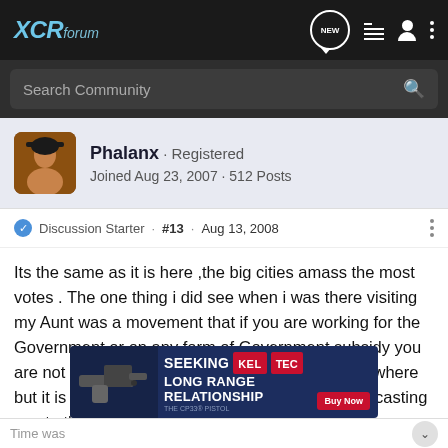XCRforum
Search Community
Phalanx · Registered
Joined Aug 23, 2007 · 512 Posts
Discussion Starter · #13 · Aug 13, 2008
Its the same as it is here ,the big cities amass the most votes . The one thing i did see when i was there visiting my Aunt was a movement that if you are working for the Government or on any form of Government subsidy you are not allowed to vote. Im sure it never went anywhere but it is a good idea , They claimed you would be casting a vote that was tainted .
[Figure (other): Advertisement banner for Kel-Tec CP33 pistol reading SEEKING LONG RANGE RELATIONSHIP with Buy Now button]
Time was